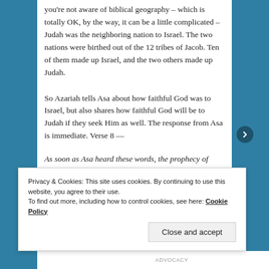you're not aware of biblical geography – which is totally OK, by the way, it can be a little complicated – Judah was the neighboring nation to Israel. The two nations were birthed out of the 12 tribes of Jacob. Ten of them made up Israel, and the two others made up Judah.
So Azariah tells Asa about how faithful God was to Israel, but also shares how faithful God will be to Judah if they seek Him as well. The response from Asa is immediate. Verse 8 —
As soon as Asa heard these words, the prophecy of Azariah the son of Oded, he took courage and put away the detestable idols from all the land of Judah and Benjamin and from the cities that he had taken in the hill country of Ephraim, and he
Privacy & Cookies: This site uses cookies. By continuing to use this website, you agree to their use.
To find out more, including how to control cookies, see here: Cookie Policy
Close and accept